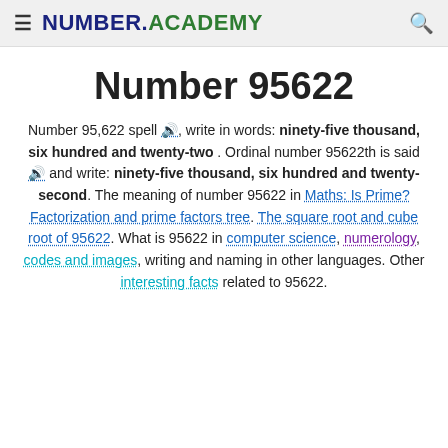NUMBER.ACADEMY
Number 95622
Number 95,622 spell 🔊, write in words: ninety-five thousand, six hundred and twenty-two . Ordinal number 95622th is said 🔊 and write: ninety-five thousand, six hundred and twenty-second. The meaning of number 95622 in Maths: Is Prime? Factorization and prime factors tree. The square root and cube root of 95622. What is 95622 in computer science, numerology, codes and images, writing and naming in other languages. Other interesting facts related to 95622.